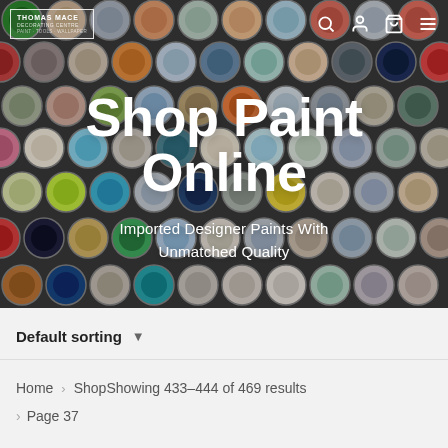[Figure (photo): Hero image showing many colorful open paint cans viewed from above, arranged in a grid pattern, with a website navigation bar overlaid at the top and large white text overlay.]
Shop Paint Online
Imported Designer Paints With Unmatched Quality
Default sorting ▾
Home > Shop Showing 433–444 of 469 results
> Page 37